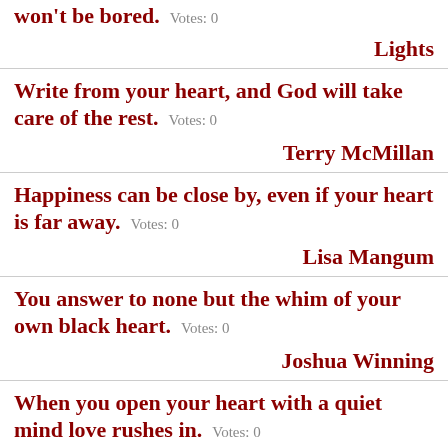won't be bored.  Votes: 0
Lights
Write from your heart, and God will take care of the rest.  Votes: 0
Terry McMillan
Happiness can be close by, even if your heart is far away.  Votes: 0
Lisa Mangum
You answer to none but the whim of your own black heart.  Votes: 0
Joshua Winning
When you open your heart with a quiet mind love rushes in.  Votes: 0